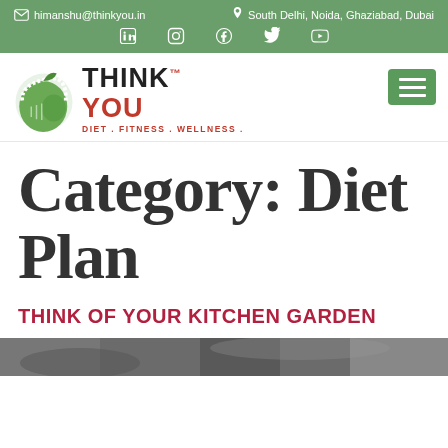himanshu@thinkyou.in   South Delhi, Noida, Ghaziabad, Dubai
[Figure (logo): Think You Diet Fitness Wellness logo with green apple icon]
Category: Diet Plan
THINK OF YOUR KITCHEN GARDEN
[Figure (photo): Partial photo visible at the bottom of the page]